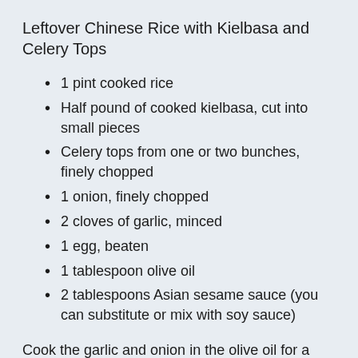Leftover Chinese Rice with Kielbasa and Celery Tops
1 pint cooked rice
Half pound of cooked kielbasa, cut into small pieces
Celery tops from one or two bunches, finely chopped
1 onion, finely chopped
2 cloves of garlic, minced
1 egg, beaten
1 tablespoon olive oil
2 tablespoons Asian sesame sauce (you can substitute or mix with soy sauce)
Cook the garlic and onion in the olive oil for a couple of minutes. Add the celery tops and kielbasa and continue cooking for a few more minutes. Remove the kielbasa and veggies from the pan and set aside. Put the rice and